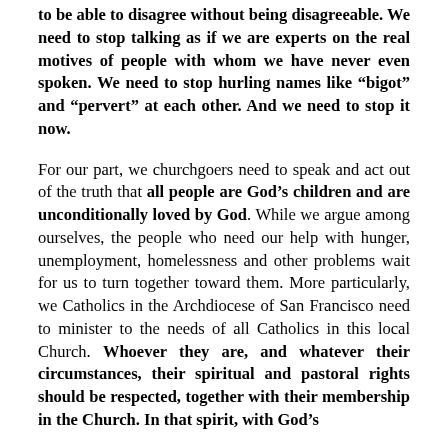to be able to disagree without being disagreeable. We need to stop talking as if we are experts on the real motives of people with whom we have never even spoken. We need to stop hurling names like “bigot” and “pervert” at each other. And we need to stop it now.
For our part, we churchgoers need to speak and act out of the truth that all people are God’s children and are unconditionally loved by God. While we argue among ourselves, the people who need our help with hunger, unemployment, homelessness and other problems wait for us to turn together toward them. More particularly, we Catholics in the Archdiocese of San Francisco need to minister to the needs of all Catholics in this local Church. Whoever they are, and whatever their circumstances, their spiritual and pastoral rights should be respected, together with their membership in the Church. In that spirit, with God’s